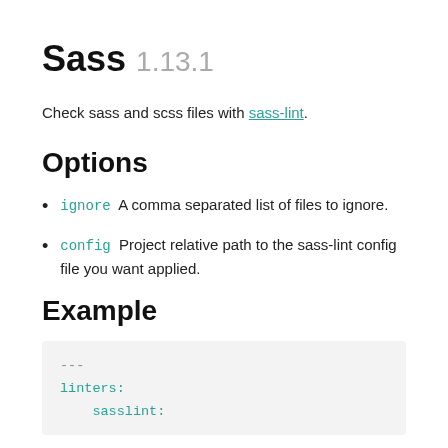Sass 1.13.1
Check sass and scss files with sass-lint.
Options
ignore  A comma separated list of files to ignore.
config  Project relative path to the sass-lint config file you want applied.
Example
---
linters:
    sasslint: